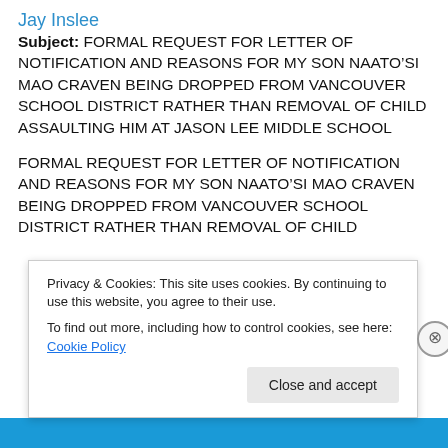Jay Inslee
Subject: FORMAL REQUEST FOR LETTER OF NOTIFICATION AND REASONS FOR MY SON NAATO’SI MAO CRAVEN BEING DROPPED FROM VANCOUVER SCHOOL DISTRICT RATHER THAN REMOVAL OF CHILD ASSAULTING HIM AT JASON LEE MIDDLE SCHOOL
FORMAL REQUEST FOR LETTER OF NOTIFICATION AND REASONS FOR MY SON NAATO’SI MAO CRAVEN BEING DROPPED FROM VANCOUVER SCHOOL DISTRICT RATHER THAN REMOVAL OF CHILD...
Privacy & Cookies: This site uses cookies. By continuing to use this website, you agree to their use.
To find out more, including how to control cookies, see here: Cookie Policy